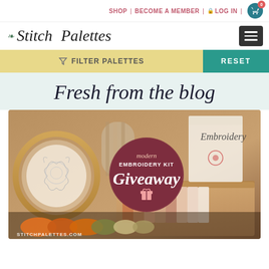SHOP | BECOME A MEMBER | LOG IN | 0
Stitch Palettes
FILTER PALETTES | RESET
Fresh from the blog
[Figure (photo): Embroidery kit giveaway promotional image showing embroidery hoops, thread skeins, patterns and a circular badge reading 'modern EMBROIDERY KIT Giveaway' on a dark red background. Watermark reads STITCHPALETTES.COM]
STITCHPALETTES.COM